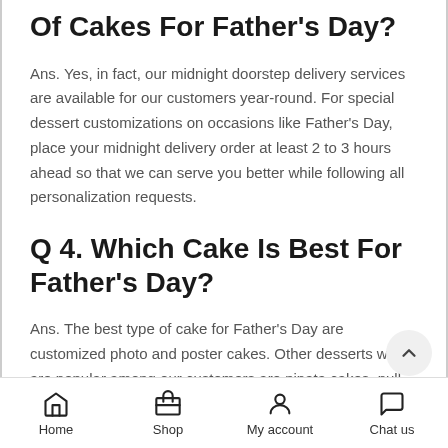Of Cakes For Father's Day?
Ans. Yes, in fact, our midnight doorstep delivery services are available for our customers year-round. For special dessert customizations on occasions like Father's Day, place your midnight delivery order at least 2 to 3 hours ahead so that we can serve you better while following all personalization requests.
Q 4. Which Cake Is Best For Father's Day?
Ans. The best type of cake for Father's Day are customized photo and poster cakes. Other desserts which are popular among our customers are pinata cakes, pull-me-up cakes, photo pulling cakes, etc. Place an order for a dessert that pays tribute to your wonderful father!
Q 5. Which Cake Flavor Is Most
Home  Shop  My account  Chat us